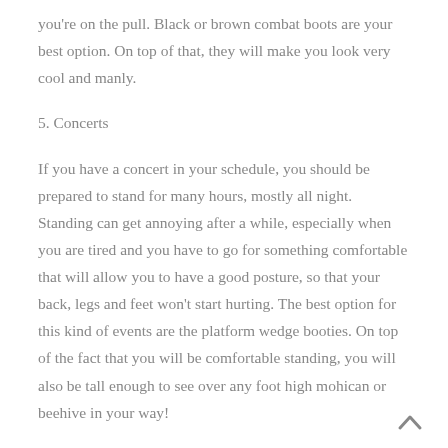you're on the pull. Black or brown combat boots are your best option. On top of that, they will make you look very cool and manly.
5. Concerts
If you have a concert in your schedule, you should be prepared to stand for many hours, mostly all night. Standing can get annoying after a while, especially when you are tired and you have to go for something comfortable that will allow you to have a good posture, so that your back, legs and feet won't start hurting. The best option for this kind of events are the platform wedge booties. On top of the fact that you will be comfortable standing, you will also be tall enough to see over any foot high mohican or beehive in your way!